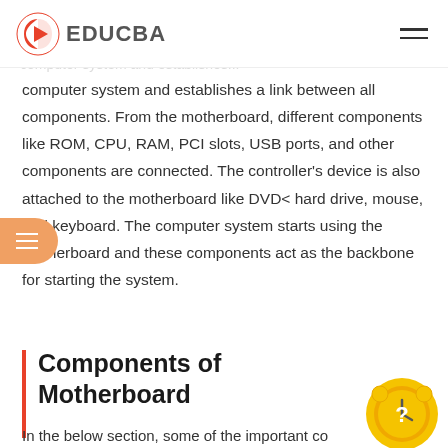EDUCBA
In a computer system, the biggest component is the motherboard that controls all the components of the computer system and establishes a link between all components. From the motherboard, different components like ROM, CPU, RAM, PCI slots, USB ports, and other components are connected. The controller's device is also attached to the motherboard like DVD< hard drive, mouse, and keyboard. The computer system starts using the motherboard and these components act as the backbone for starting the system.
Components of Motherboard
In the below section, some of the important co